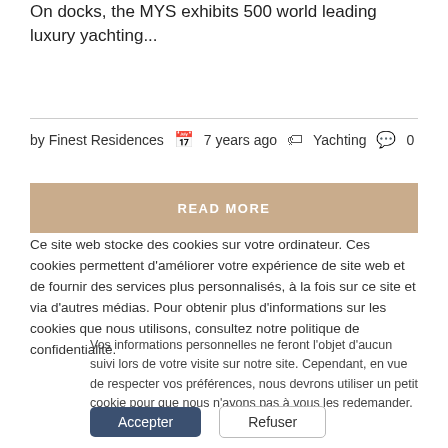On docks, the MYS exhibits 500 world leading luxury yachting...
by Finest Residences   7 years ago   Yachting   0
READ MORE
Ce site web stocke des cookies sur votre ordinateur. Ces cookies permettent d'améliorer votre expérience de site web et de fournir des services plus personnalisés, à la fois sur ce site et via d'autres médias. Pour obtenir plus d'informations sur les cookies que nous utilisons, consultez notre politique de confidentialité.
Vos informations personnelles ne feront l'objet d'aucun suivi lors de votre visite sur notre site. Cependant, en vue de respecter vos préférences, nous devrons utiliser un petit cookie pour que nous n'ayons pas à vous les redemander.
Accepter
Refuser